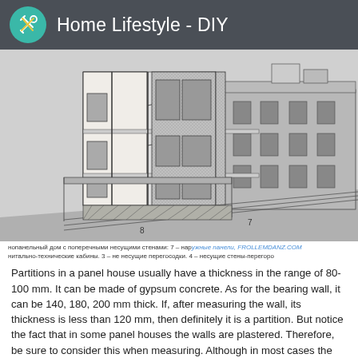Home Lifestyle - DIY
[Figure (engineering-diagram): Isometric architectural diagram of a large-panel house with transverse load-bearing walls, showing exterior panels, technical cabinets, non-load-bearing partitions, and load-bearing partition walls. Labels 7 and 8 visible at bottom.]
нопанельный дом с поперечными несущими стенами: 7 – наружные панели, FROLLEMDANZ.COM
нитально-технические кабины. 3 – не несущие перегосодки. 4 – несущие стены-перегоро
Partitions in a panel house usually have a thickness in the range of 80-100 mm. It can be made of gypsum concrete. As for the bearing wall, it can be 140, 180, 200 mm thick. If, after measuring the wall, its thickness is less than 120 mm, then definitely it is a partition. But notice the fact that in some panel houses the walls are plastered. Therefore, be sure to consider this when measuring. Although in most cases the layer of